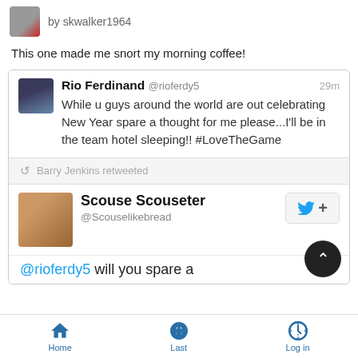[Figure (screenshot): Top bar with avatar and username 'by skwalker1964']
This one made me snort my morning coffee!
[Figure (screenshot): Embedded tweet screenshot showing Rio Ferdinand @rioferdy5 tweet about being in the team hotel sleeping on New Year, retweeted by Barry Jenkins, with Scouse Scouseter @Scouselikebread follow card and reply preview starting '@rioferdy5 will you spare a']